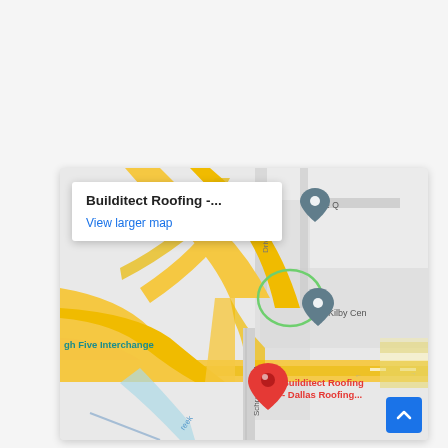[Figure (map): Google Maps screenshot showing the location of Builditect Roofing - Dallas Roofing near the High Five Interchange in Dallas, TX. A red pin marks the business location. Two grey location pins mark 'Drive Q' and 'Kilby Cen'. Streets include Schroeder Rd and major yellow highway interchanges. Info popup shows 'Builditect Roofing -...' and 'View larger map' link. A blue back-to-top arrow button appears in the bottom-right corner of the map.]